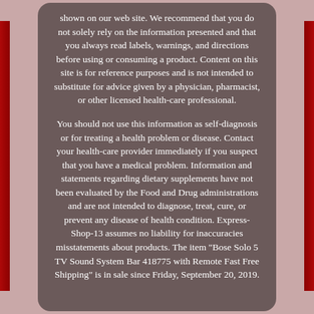shown on our web site. We recommend that you do not solely rely on the information presented and that you always read labels, warnings, and directions before using or consuming a product. Content on this site is for reference purposes and is not intended to substitute for advice given by a physician, pharmacist, or other licensed health-care professional.
You should not use this information as self-diagnosis or for treating a health problem or disease. Contact your health-care provider immediately if you suspect that you have a medical problem. Information and statements regarding dietary supplements have not been evaluated by the Food and Drug administrations and are not intended to diagnose, treat, cure, or prevent any disease of health condition. Express-Shop-13 assumes no liability for inaccuracies misstatements about products. The item "Bose Solo 5 TV Sound System Bar 418775 with Remote Fast Free Shipping" is in sale since Friday, September 20, 2019.